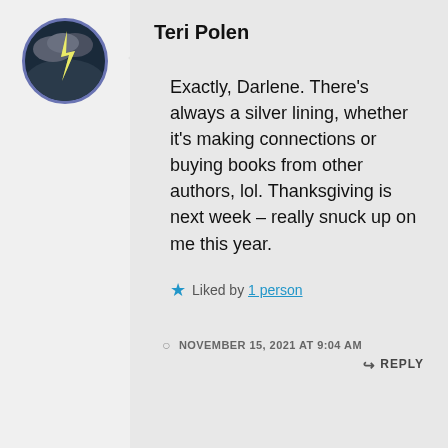[Figure (photo): Circular avatar with storm/lightning image, purple border]
Teri Polen
Exactly, Darlene. There’s always a silver lining, whether it’s making connections or buying books from other authors, lol. Thanksgiving is next week – really snuck up on me this year.
★ Liked by 1 person
NOVEMBER 15, 2021 AT 9:04 AM  REPLY